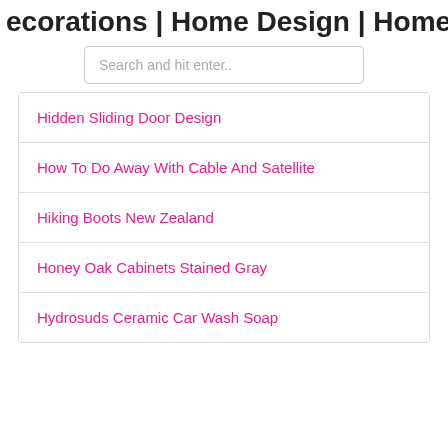ecorations | Home Design | Home Ga
Search and hit enter..
Hidden Sliding Door Design
How To Do Away With Cable And Satellite
Hiking Boots New Zealand
Honey Oak Cabinets Stained Gray
Hydrosuds Ceramic Car Wash Soap